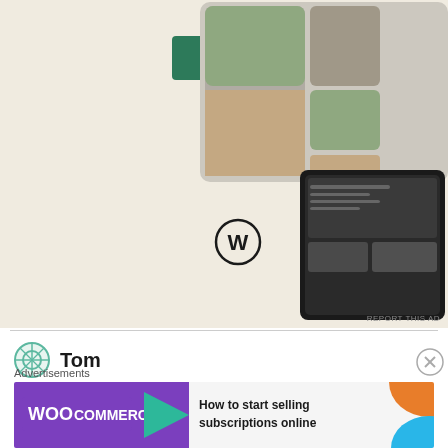[Figure (screenshot): WordPress/WooCommerce advertisement showing 'Explore options' button, WordPress logo, and food photography on a beige background]
REPORT THIS AD
Tom
February 7, 2011 at 10:53 pm
We all breathe the same air, so really, what is the problem? We're forgetting the most important thing here, making music. Who cares who burned or ripped who? Shit happens, then you die. Get over it, and make some fecking music!!
Advertisements
[Figure (screenshot): WooCommerce advertisement banner with text 'How to start selling subscriptions online']